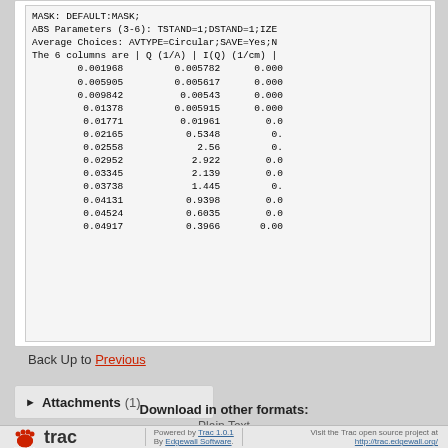MASK: DEFAULT:MASK;
ABS Parameters (3-6): TSTAND=1;DSTAND=1;IZE...
Average Choices: AVTYPE=Circular;SAVE=Yes;N...
The 6 columns are | Q (1/A) | I(Q) (1/cm) | ...
0.001968   0.005782   0.000
0.005905   0.005617   0.000
0.009842   0.00543    0.000
0.01378    0.005915   0.000
0.01771    0.01961    0.0
0.02165    0.5348     0.
0.02558    2.56       0.
0.02952    2.922      0.0
0.03345    2.139      0.0
0.03738    1.445      0.
0.04131    0.9398     0.0
0.04524    0.6035     0.0
0.04917    0.3966     0.00
Back Up to Previous
▶ Attachments (1)
Download in other formats:
Plain Text
Powered by Trac 1.0.1 By Edgewall Software. Visit the Trac open source project at http://trac.edgewall.org/